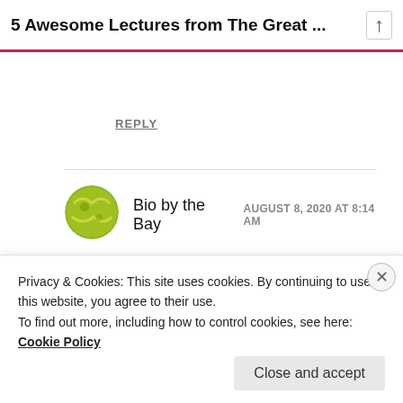5 Awesome Lectures from The Great ...
REPLY
Bio by the Bay   AUGUST 8, 2020 AT 8:14 AM
They really are! Thanks for stopping by.
★ Liked by 1 person
Privacy & Cookies: This site uses cookies. By continuing to use this website, you agree to their use.
To find out more, including how to control cookies, see here: Cookie Policy
Close and accept